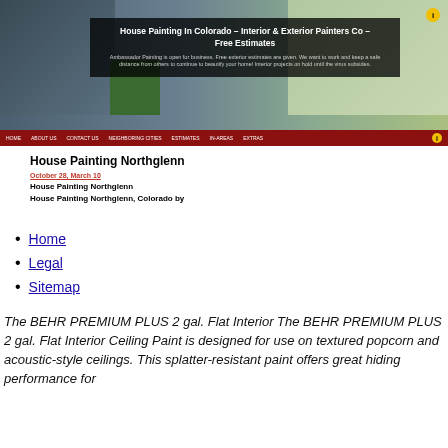[Figure (screenshot): Screenshot of a house painting website showing a residential home with a dark overlay box containing the site title and description, a red navigation bar at the bottom, and a yellow circular icon in the top right.]
House Painting Northglenn
October 28, March 10
House Painting Northglenn
House Painting Northglenn, Colorado by
Home
Legal
Sitemap
The BEHR PREMIUM PLUS 2 gal. Flat Interior The BEHR PREMIUM PLUS 2 gal. Flat Interior Ceiling Paint is designed for use on textured popcorn and acoustic-style ceilings. This splatter-resistant paint offers great hiding performance for